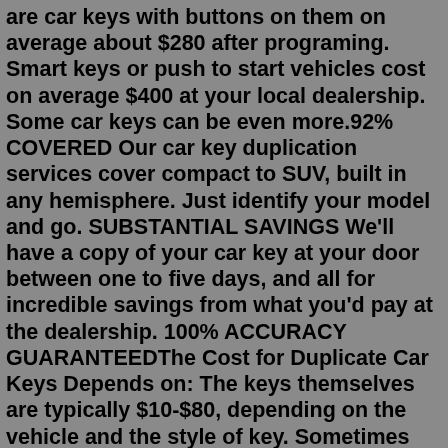are car keys with buttons on them on average about $280 after programing. Smart keys or push to start vehicles cost on average $400 at your local dealership. Some car keys can be even more.92% COVERED Our car key duplication services cover compact to SUV, built in any hemisphere. Just identify your model and go. SUBSTANTIAL SAVINGS We'll have a copy of your car key at your door between one to five days, and all for incredible savings from what you'd pay at the dealership. 100% ACCURACY GUARANTEEDThe Cost for Duplicate Car Keys Depends on: The keys themselves are typically $10-$80, depending on the vehicle and the style of key. Sometimes you can find them for less online and you can buy affordable car keys online directly from ACME Locksmith. The second cost is the programming, and this is usually $50-$100.For a duplicate key, it costs about $10-$200. It is focused on the vehicle's year, build and model. When you lost your keys, this costs extra (again depending on the car). Your vehicle has to get the latest primary circuit